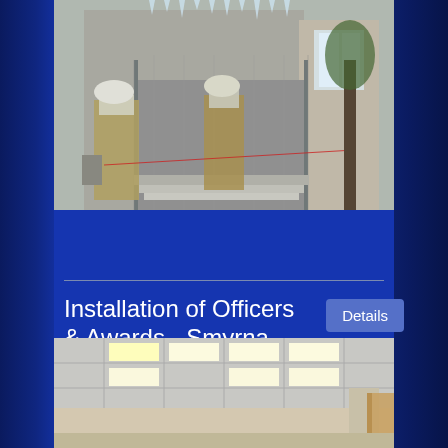[Figure (photo): Firefighters in gear working at a building entrance, one carrying equipment, icicles visible on the structure]
Installation of Officers & Awards - Smyrna Fire House
Mon, Jan 8, 2007
[Figure (photo): Interior of a room with drop ceiling and fluorescent lighting, appears to be a meeting or banquet room]